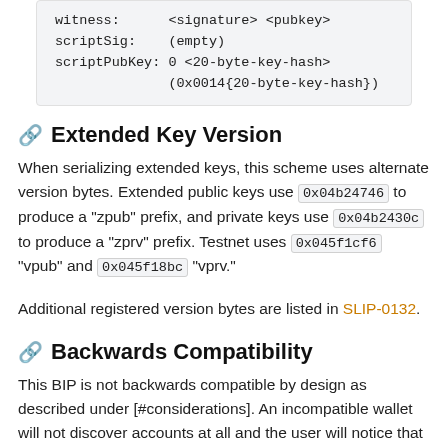witness:      <signature> <pubkey>
scriptSig:    (empty)
scriptPubKey: 0 <20-byte-key-hash>
              (0x0014{20-byte-key-hash})
Extended Key Version
When serializing extended keys, this scheme uses alternate version bytes. Extended public keys use 0x04b24746 to produce a "zpub" prefix, and private keys use 0x04b2430c to produce a "zprv" prefix. Testnet uses 0x045f1cf6 "vpub" and 0x045f18bc "vprv."
Additional registered version bytes are listed in SLIP-0132.
Backwards Compatibility
This BIP is not backwards compatible by design as described under [#considerations]. An incompatible wallet will not discover accounts at all and the user will notice that